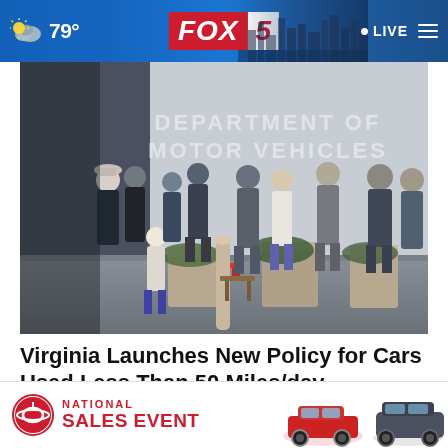79° FOX 5 LIVE
[Figure (photo): People standing in line outside a Department of Motor Vehicles building. A child stands in the foreground. Concrete planters are visible. The words DEPARTMENT OF MOTOR VEHICLES are on the building wall.]
Virginia Launches New Policy for Cars Used Less Than 50 Miles/day
Smart Lifestyle Trends
[Figure (infographic): Toyota National Sales Event advertisement banner showing Toyota vehicles and red branding text]